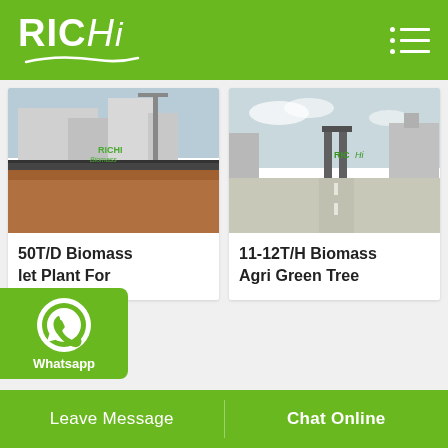RICHI
[Figure (photo): Industrial biomass plant facility with buildings and construction site, red soil foreground]
50T/D Biomass let Plant For
[Figure (photo): Entrance gate of RICHI industrial facility with paved road and factory buildings]
11-12T/H Biomass Agri Green Tree
[Figure (illustration): WhatsApp contact button with green background and phone icon]
Leave Message | Chat Online